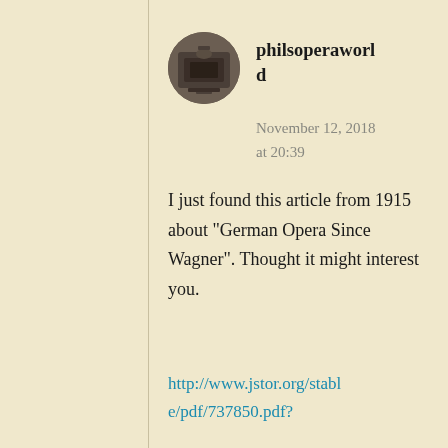[Figure (photo): Round avatar photo of a user, showing a dark sepia-toned image of what appears to be equipment or a desk scene]
philsoperaworld
November 12, 2018 at 20:39
I just found this article from 1915 about “German Opera Since Wagner”. Thought it might interest you.
http://www.jstor.org/stable/pdf/737850.pdf?